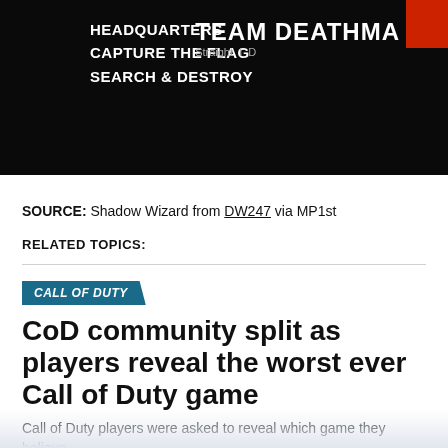[Figure (screenshot): Screenshot of a video game UI showing game mode options: HEADQUARTERS, CAPTURE THE FLAG, SEARCH & DESTROY, and TEAM DEATHMATCH on a dark background with a red element in top right]
SOURCE: Shadow Wizard from DW247 via MP1st
RELATED TOPICS:
CALL OF DUTY
CoD community split as players reveal the worst ever Call of Duty game
Call of Duty players were asked to reveal which game they believe